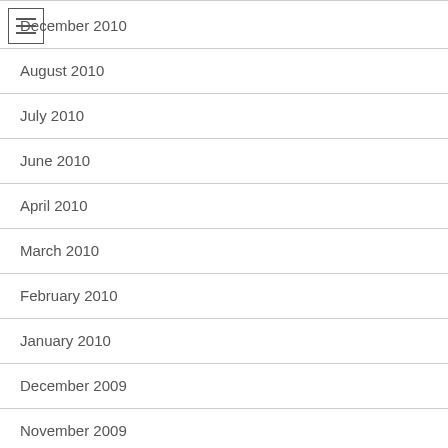December 2010
August 2010
July 2010
June 2010
April 2010
March 2010
February 2010
January 2010
December 2009
November 2009